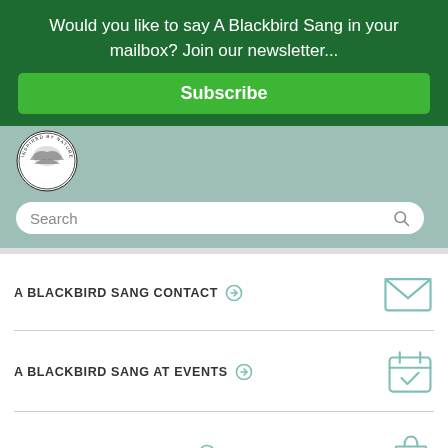Would you like to say A Blackbird Sang in your mailbox? Join our newsletter...
Subscribe
[Figure (logo): Circular badge logo with bird, text 'INSPIRED BY NATURE - MADE IN ENGLAND']
Search
A BLACKBIRD SANG CONTACT
A BLACKBIRD SANG AT EVENTS
A BLACKBIRD SANG SHOP
Questions? We can help. Chat with us now.
A BLACKBIRD SANG SUSTAINABILITY